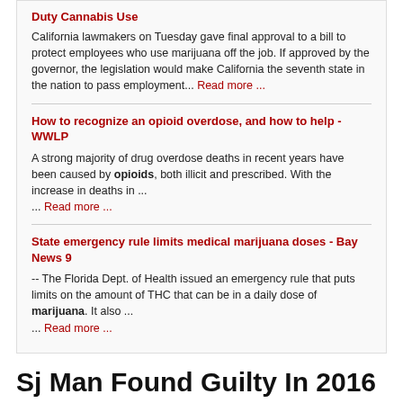Duty Cannabis Use
California lawmakers on Tuesday gave final approval to a bill to protect employees who use marijuana off the job. If approved by the governor, the legislation would make California the seventh state in the nation to pass employment... Read more ...
How to recognize an opioid overdose, and how to help - WWLP
A strong majority of drug overdose deaths in recent years have been caused by opioids, both illicit and prescribed. With the increase in deaths in ... ... Read more ...
State emergency rule limits medical marijuana doses - Bay News 9
-- The Florida Dept. of Health issued an emergency rule that puts limits on the amount of THC that can be in a daily dose of marijuana. It also ... ... Read more ...
Sj Man Found Guilty In 2016 Dui Fatality, Murder Charge Still Pending